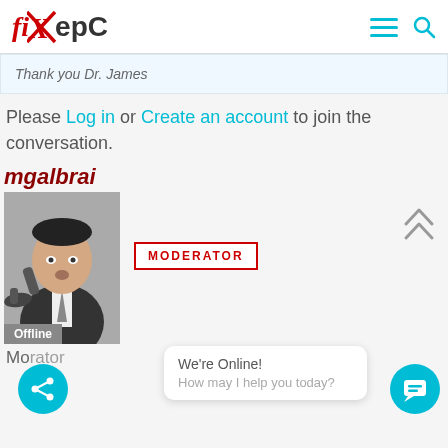fiXepC (logo) — navigation icons
Thank you Dr. James
Please Log in or Create an account to join the conversation.
mgalbrai
[Figure (photo): Black and white photo of a man holding a telephone shoe to his ear, styled like a vintage TV character. Below the photo is an 'Offline' badge. Next to the photo is a MODERATOR badge in red.]
Moderator
We're Online! How may I help you today?